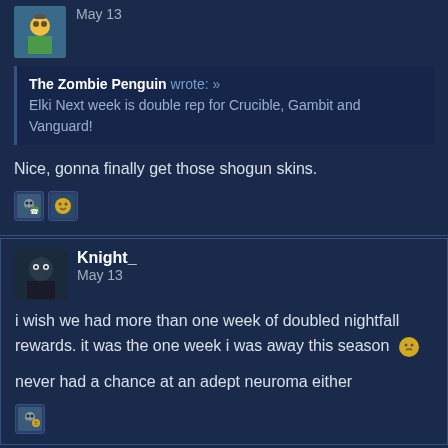May 13
The Zombie Penguin wrote: »
Elki Next week is double rep for Crucible, Gambit and Vanguard!
Nice, gonna finally get those shogun skins.
Knight_
May 13
i wish we had more than one week of doubled nightfall rewards. it was the one week i was away this season
never had a chance at an adept neuroma either